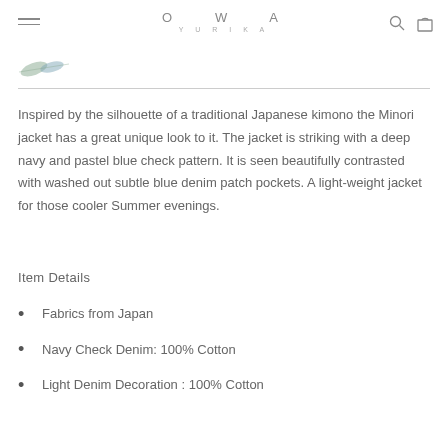OWA YURIKA
[Figure (illustration): Small decorative leaf/branch illustration in muted green-blue tones]
Inspired by the silhouette of a traditional Japanese kimono the Minori jacket has a great unique look to it. The jacket is striking with a deep navy and pastel blue check pattern. It is seen beautifully contrasted with washed out subtle blue denim patch pockets. A light-weight jacket for those cooler Summer evenings.
Item Details
Fabrics from Japan
Navy Check Denim: 100% Cotton
Light Denim Decoration : 100% Cotton